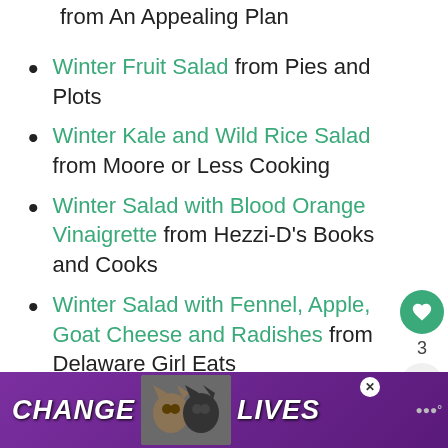from An Appealing Plan
Winter Fruit Salad from Pies and Plots
Winter Kale and Wild Rice Salad from Moore or Less Cooking
Winter Salad with Blood Orange Vinaigrette from Hezzi-D’s Books and Cooks
Winter Salad with Fennel, Apple, Goat Cheese and Radishes from Delaware Girl Eats
[Figure (other): Advertisement banner reading CHANGE LIVES with cat photos]